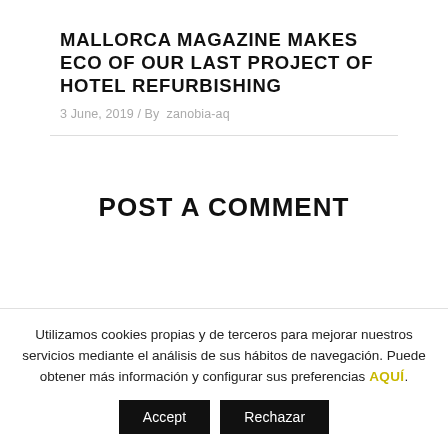MALLORCA MAGAZINE MAKES ECO OF OUR LAST PROJECT OF HOTEL REFURBISHING
3 June, 2019 / By  zanobia-aq
POST A COMMENT
Utilizamos cookies propias y de terceros para mejorar nuestros servicios mediante el análisis de sus hábitos de navegación. Puede obtener más información y configurar sus preferencias AQUÍ.